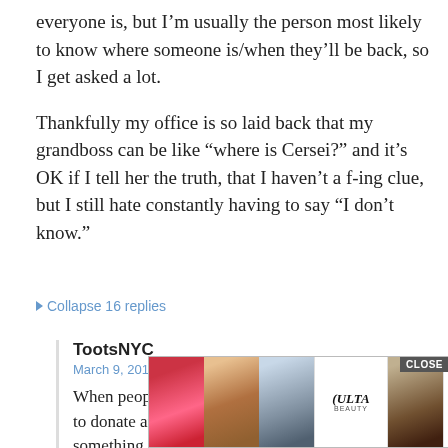everyone is, but I'm usually the person most likely to know where someone is/when they'll be back, so I get asked a lot.
Thankfully my office is so laid back that my grandboss can be like "where is Cersei?" and it's OK if I tell her the truth, that I haven't a f-ing clue, but I still hate constantly having to say "I don't know."
▼ Collapse 16 replies
TootsNYC
March 9, 2017 at 2:47 pm
When people get asked by the cashier, "do you want to donate an extra $1 for hungry kids?" or something, the advice is often to not say just "no," but "no CLOSE y."
It's s ULTA SHOP NOW ppear)
[Figure (other): Advertisement overlay for ULTA beauty with lip, brush, and eye makeup images, ULTA logo, and SHOP NOW button with CLOSE button]